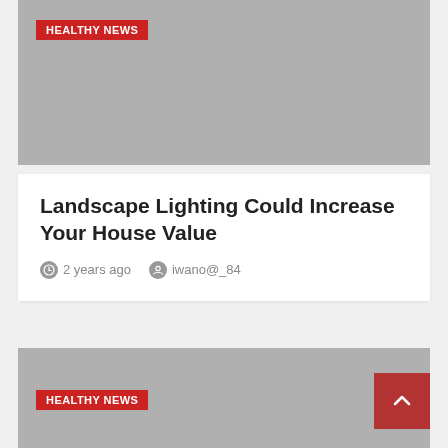[Figure (photo): Gray placeholder image at top of page]
HEALTHY NEWS
Landscape Lighting Could Increase Your House Value
2 years ago   iwano@_84
[Figure (photo): Gray placeholder image at bottom of page]
HEALTHY NEWS